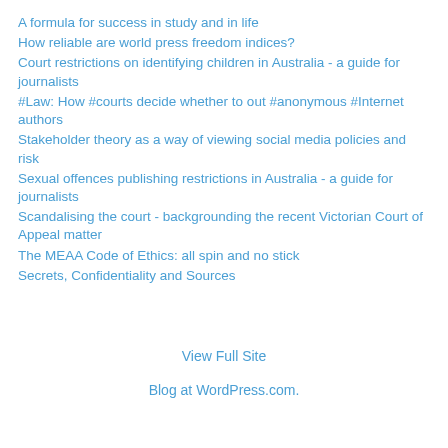A formula for success in study and in life
How reliable are world press freedom indices?
Court restrictions on identifying children in Australia - a guide for journalists
#Law: How #courts decide whether to out #anonymous #Internet authors
Stakeholder theory as a way of viewing social media policies and risk
Sexual offences publishing restrictions in Australia - a guide for journalists
Scandalising the court - backgrounding the recent Victorian Court of Appeal matter
The MEAA Code of Ethics: all spin and no stick
Secrets, Confidentiality and Sources
View Full Site
Blog at WordPress.com.